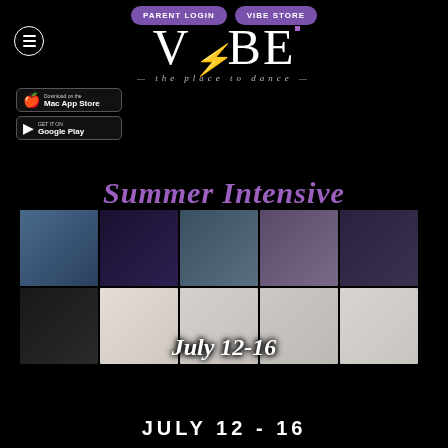[Figure (screenshot): Navigation buttons: PARENT LOGIN and VIBE STORE in purple rounded rectangles]
[Figure (logo): VIBE - the place to dance logo in white text on black background]
[Figure (infographic): App store badges: Mac App Store and Google Play]
Summer Intensive
[Figure (photo): Grid of 10 instructor headshot photos arranged in 2 rows of 5, with 'July 12-16' text overlaid in white italic script]
JULY 12 - 16